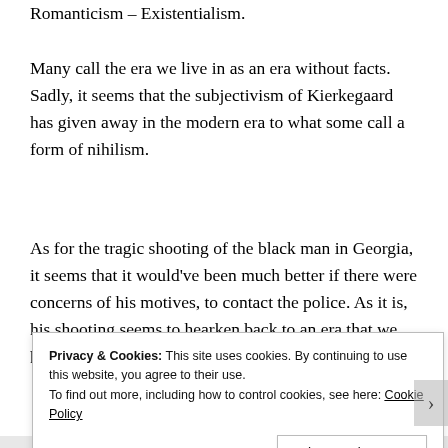Romanticism – Existentialism.
Many call the era we live in as an era without facts. Sadly, it seems that the subjectivism of Kierkegaard has given away in the modern era to what some call a form of nihilism.
As for the tragic shooting of the black man in Georgia, it seems that it would've been much better if there were concerns of his motives, to contact the police. As it is, his shooting seems to hearken back to an era that we hoped was gone.
Privacy & Cookies: This site uses cookies. By continuing to use this website, you agree to their use.
To find out more, including how to control cookies, see here: Cookie Policy